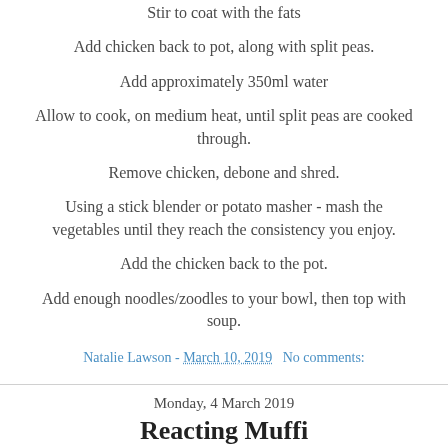Stir to coat with the fats
Add chicken back to pot, along with split peas.
Add approximately 350ml water
Allow to cook, on medium heat, until split peas are cooked through.
Remove chicken, debone and shred.
Using a stick blender or potato masher - mash the vegetables until they reach the consistency you enjoy.
Add the chicken back to the pot.
Add enough noodles/zoodles to your bowl, then top with soup.
Natalie Lawson - March 10, 2019   No comments:
Monday, 4 March 2019
Reacting Muffi...